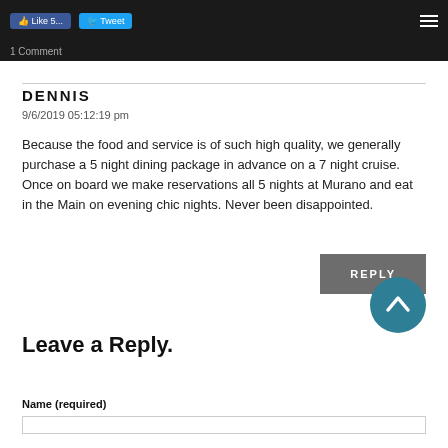Like 5 / Tweet / 1 Comment
DENNIS
9/6/2019 05:12:19 pm
Because the food and service is of such high quality, we generally purchase a 5 night dining package in advance on a 7 night cruise. Once on board we make reservations all 5 nights at Murano and eat in the Main on evening chic nights. Never been disappointed.
REPLY
[Figure (other): Scroll-to-top circular button with upward chevron arrow, teal/dark cyan background]
Leave a Reply.
Name (required)